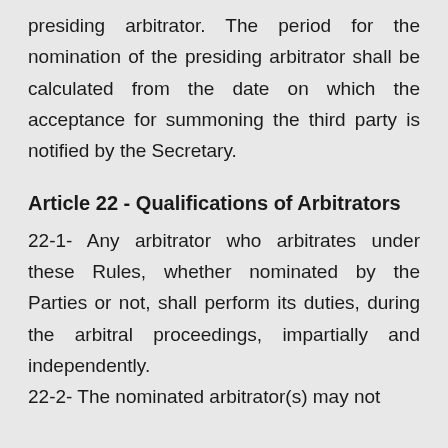presiding arbitrator. The period for the nomination of the presiding arbitrator shall be calculated from the date on which the acceptance for summoning the third party is notified by the Secretary.
Article 22 - Qualifications of Arbitrators
22-1- Any arbitrator who arbitrates under these Rules, whether nominated by the Parties or not, shall perform its duties, during the arbitral proceedings, impartially and independently.
22-2- The nominated arbitrator(s) may not